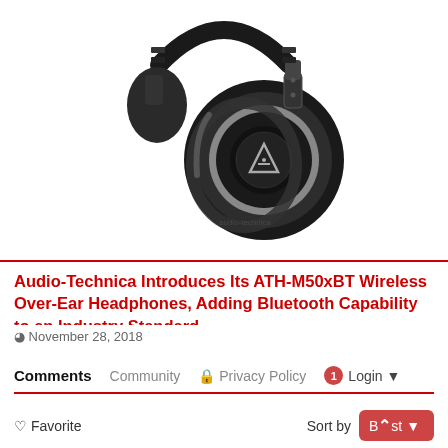[Figure (photo): Photo of Audio-Technica ATH-M50xBT wireless over-ear headphones in black, showing the ear cup with the Audio-Technica logo]
Audio-Technica Introduces Its ATH-M50xBT Wireless Over-Ear Headphones, Adding Bluetooth Capability to an Industry Standard
November 28, 2018
Comments
Community
Privacy Policy
Login
Favorite
Sort by Best